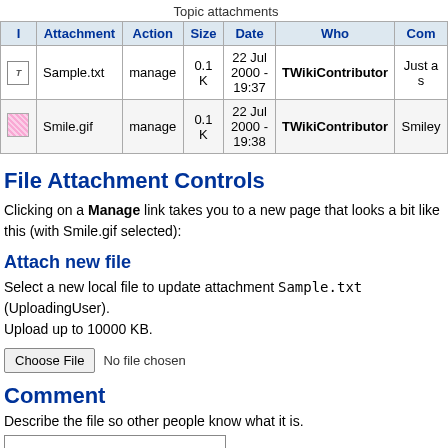Topic attachments
| I | Attachment | Action | Size | Date | Who | Com |
| --- | --- | --- | --- | --- | --- | --- |
| [T] | Sample.txt | manage | 0.1 K | 22 Jul 2000 - 19:37 | TWikiContributor | Just a s |
| [img] | Smile.gif | manage | 0.1 K | 22 Jul 2000 - 19:38 | TWikiContributor | Smiley |
File Attachment Controls
Clicking on a Manage link takes you to a new page that looks a bit like this (with Smile.gif selected):
Attach new file
Select a new local file to update attachment Sample.txt (UploadingUser). Upload up to 10000 KB.
Choose File  No file chosen
Comment
Describe the file so other people know what it is.